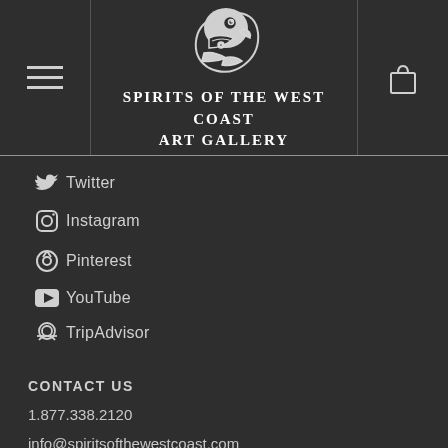[Figure (logo): Indigenous art eagle/hawk head logo in white on dark background]
SPIRITS OF THE WEST COAST ART GALLERY
Twitter
Instagram
Pinterest
YouTube
TripAdvisor
CONTACT US
1.877.338.2120
info@spiritsofthewestcoast.com
2926 Back Road, Courtenay, BC